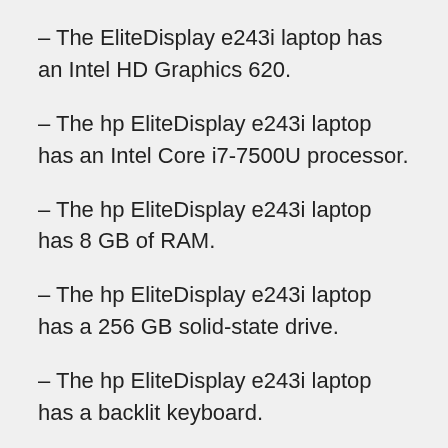– The EliteDisplay e243i laptop has an Intel HD Graphics 620.
– The hp EliteDisplay e243i laptop has an Intel Core i7-7500U processor.
– The hp EliteDisplay e243i laptop has 8 GB of RAM.
– The hp EliteDisplay e243i laptop has a 256 GB solid-state drive.
– The hp EliteDisplay e243i laptop has a backlit keyboard.
– This laptop has a large and